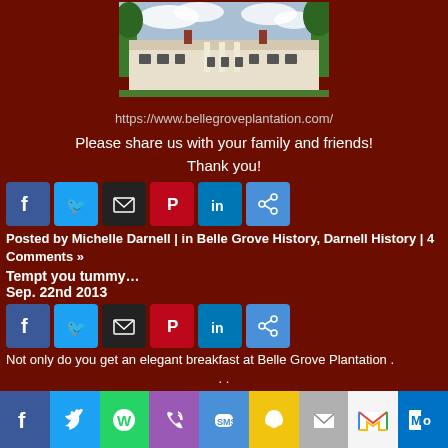[Figure (photo): Photo of Belle Grove Plantation mansion, a large white colonial-style building with columns and chimneys, surrounded by trees]
https://www.bellegroveplantation.com/
Please share us with your family and friends!
Thank you!
[Figure (infographic): Row of social media share buttons: Facebook, Twitter, Email, Pinterest, LinkedIn, Share]
Posted by Michelle Darnell | in Belle Grove History, Darnell History | 4 Comments »
Tempt you tummy…
Sep. 22nd 2013
[Figure (infographic): Second row of social media share buttons: Facebook, Twitter, Email, Pinterest, LinkedIn, Share]
Not only do you get an elegant breakfast at Belle Grove Plantation .
. .
[Figure (infographic): Footer bar with social sharing buttons: Facebook, Twitter, WhatsApp, Phone, SMS, Snapchat, Email, Gmail, Outlook]